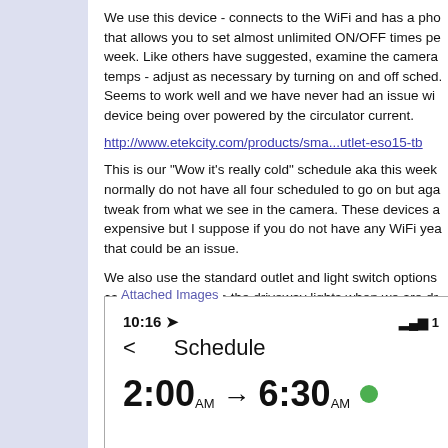We use this device - connects to the WiFi and has a pho that allows you to set almost unlimited ON/OFF times pe week. Like others have suggested, examine the camera temps - adjust as necessary by turning on and off sched. Seems to work well and we have never had an issue wi device being over powered by the circulator current.
http://www.etekcity.com/products/sma...utlet-eso15-tb
This is our "Wow it's really cold" schedule aka this week normally do not have all four scheduled to go on but aga tweak from what we see in the camera. These devices a expensive but I suppose if you do not have any WiFi yea that could be an issue.
We also use the standard outlet and light switch options can remotely turn on the driveway lights when we are dr
[Figure (screenshot): Screenshot of a smartphone app showing a Schedule screen with a time range of 2:00 AM to 6:30 AM. The phone status bar shows 10:16 and signal bars.]